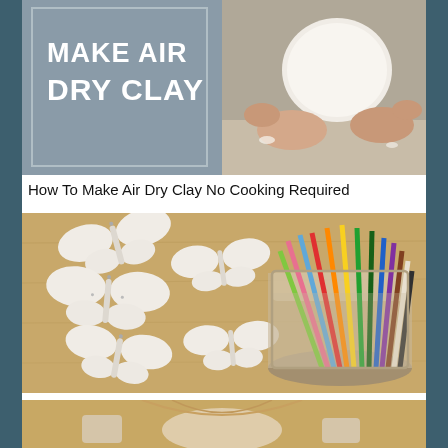[Figure (photo): Composite image showing 'MAKE AIR DRY CLAY' text on a gray background on the left side, and hands holding a smooth white ball of clay on a wooden surface on the right side.]
How To Make Air Dry Clay No Cooking Required
[Figure (photo): Photo showing five white clay butterfly shapes arranged on a wooden surface on the left, and a glass jar filled with colorful pencils on the right.]
[Figure (photo): Partial photo showing clay ornaments or decorations on a wooden background, partially cut off at the bottom of the page.]